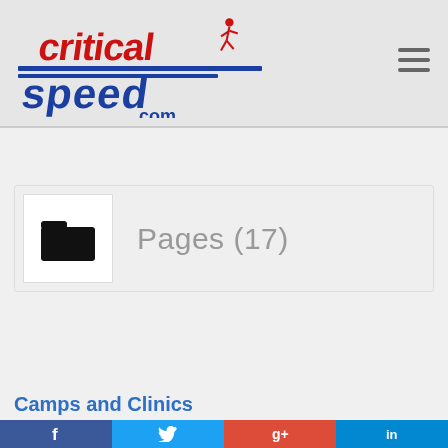[Figure (logo): Critical Speed .com logo — red and blue stylized text with a running figure silhouette]
[Figure (other): Hamburger/menu icon — three horizontal lines]
Pages (17)
Camps and Clinics
[Figure (other): Social media bar with Facebook, Twitter, Google+, and LinkedIn icons]